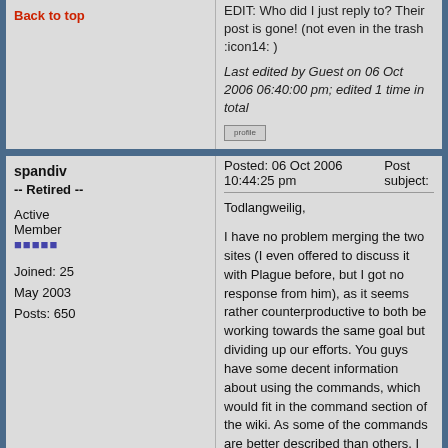EDIT: Who did I just reply to? Their post is gone! (not even in the trash :icon14: )
Last edited by Guest on 06 Oct 2006 06:40:00 pm; edited 1 time in total
Back to top
spandiv -- Retired --
Active Member
Joined: 25 May 2003
Posts: 650
Posted: 06 Oct 2006 10:44:25 pm    Post subject:
Todlangweilig,

I have no problem merging the two sites (I even offered to discuss it with Plague before, but I got no response from him), as it seems rather counterproductive to both be working towards the same goal but dividing up our efforts. You guys have some decent information about using the commands, which would fit in the command section of the wiki. As some of the commands are better described than others, I think we should primarily stick with using the better commands.

Concerning keeping both the wiki and forum (as slayer117 said), I think just keeping the wiki makes more sense because a wiki has the functionality of a forum already built-in. The wiki has a discussion module that is available for each page, and a wiki is much better for collaboration (as DarkerLine said). Besides that, I think the quality of the wiki is already there, so it should only get better with your addition.